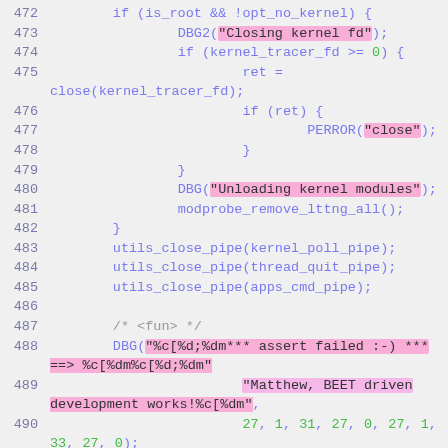[Figure (screenshot): Source code screenshot showing lines 472-492 of a C program with syntax highlighting. Blue for function/variable names, green for numeric literals, magenta/pink highlighted backgrounds for string literals.]